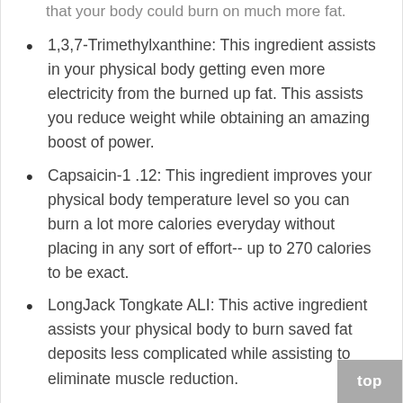that your body could burn on much more fat.
1,3,7-Trimethylxanthine: This ingredient assists in your physical body getting even more electricity from the burned up fat. This assists you reduce weight while obtaining an amazing boost of power.
Capsaicin-1 .12: This ingredient improves your physical body temperature level so you can burn a lot more calories everyday without placing in any sort of effort-- up to 270 calories to be exact.
LongJack Tongkate ALI: This active ingredient assists your physical body to burn saved fat deposits less complicated while assisting to eliminate muscle reduction.
L-Carnitine: This substance aids to give your physical body electricity by obtaining saved body fat into the circulatory system.
Sympathomimetic Amine: This active ingredient really helps raise the physical body's metabolism and fat deposits mobilization by helping to create